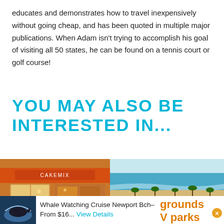educates and demonstrates how to travel inexpensively without going cheap, and has been quoted in multiple major publications. When Adam isn't trying to accomplish his goal of visiting all 50 states, he can be found on a tennis court or golf course!
YOU MAY ALSO BE INTERESTED IN...
[Figure (photo): Storefront of a bakery called Cake Mix with an orange awning and illuminated interior display, at night.]
[Figure (photo): Aerial view of a sandy beach with turquoise ocean waves, palm trees, and RVs parked along a beachside lot.]
[Figure (photo): Small thumbnail image of a whale or dolphin at sea, used as an advertisement thumbnail.]
Whale Watching Cruise Newport Bch–From $16... View Details
grounds V parks